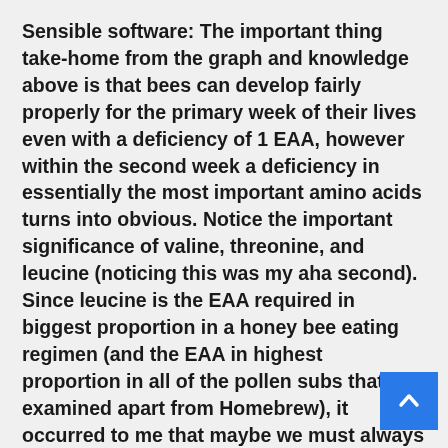Sensible software: The important thing take-home from the graph and knowledge above is that bees can develop fairly properly for the primary week of their lives even with a deficiency of 1 EAA, however within the second week a deficiency in essentially the most important amino acids turns into obvious. Notice the important significance of valine, threonine, and leucine (noticing this was my aha second). Since leucine is the EAA required in biggest proportion in a honey bee eating regimen (and the EAA in highest proportion in all of the pollen subs that I examined apart from Homebrew), it occurred to me that maybe we must always use leucine, as an alternative of tryptophan, because the reference EAA when analyzing diets for EAA steadiness (Determine 5).